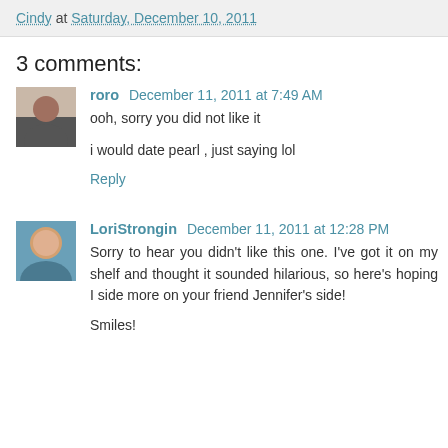Cindy at Saturday, December 10, 2011
3 comments:
roro December 11, 2011 at 7:49 AM
ooh, sorry you did not like it

i would date pearl , just saying lol
Reply
LoriStrongin December 11, 2011 at 12:28 PM
Sorry to hear you didn't like this one. I've got it on my shelf and thought it sounded hilarious, so here's hoping I side more on your friend Jennifer's side!

Smiles!